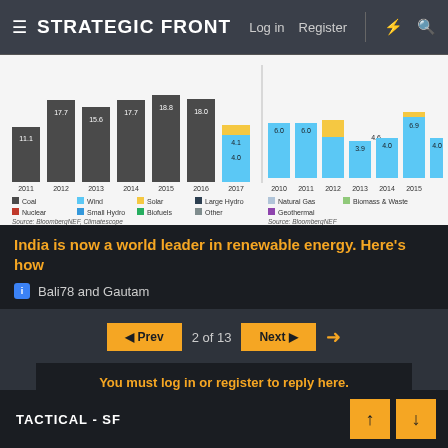STRATEGIC FRONT — Log in  Register
[Figure (stacked-bar-chart): Two stacked bar chart groups showing energy data from 2011-2017 and 2010-2017 with coal, wind, solar, large hydro, natural gas, biomass and other categories]
India is now a world leader in renewable energy. Here's how
Bali78 and Gautam
◄ Prev   2 of 13   Next ►
You must log in or register to reply here.
Share:
TACTICAL - SF